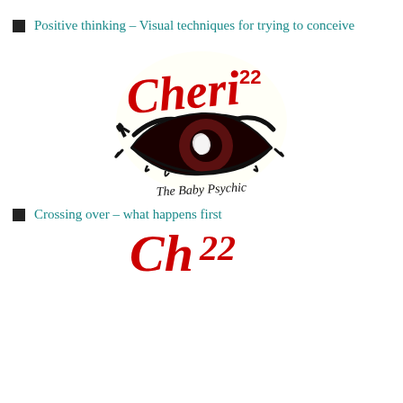Positive thinking – Visual techniques for trying to conceive
[Figure (logo): Cheri22 The Baby Psychic logo with stylized red script text 'Cheri' with superscript '22', a large illustrated eye with an embryo/fetus reflected in the pupil, and cursive text 'The Baby Psychic' below]
Crossing over – what happens first
[Figure (logo): Partial view of Cheri22 logo (bottom portion cropped) showing red script lettering]